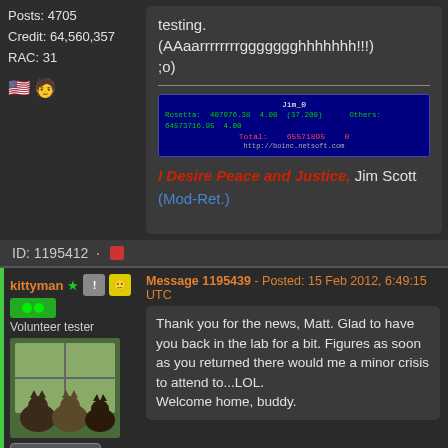Posts: 4705
Credit: 64,560,357
RAC: 31
testing.
(AAaarrrrrrrrggggggghhhhhhh!!!)
;o)
[Figure (screenshot): BOINC statistics bar showing user Jim_0 with Rosetta and other project credits, Total: 65571895]
I Desire Peace and Justice, Jim Scott (Mod-Ret.)
ID: 1195412
kittyman - Volunteer tester
Message 1195439 - Posted: 15 Feb 2012, 6:49:15 UTC
Thank you for the news, Matt. Glad to have you back in the lab for a bit. Figures as soon as you returned there would me a minor crisis to attend to...LOL.
Welcome home, buddy.